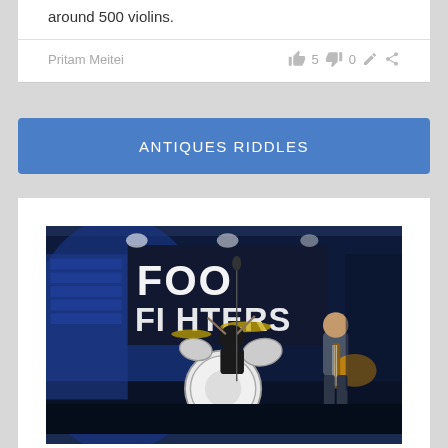around 500 violins.
Pritam Meitei   👍 5   👎 0
ANTIQUES RIDDLES
[Figure (photo): A Foo Fighters concert photo showing a drummer on stage with a drum kit and a guitarist on the right, with a large illuminated 'FOO FIGHTERS' sign in the background on a dark blue-lit stage.]